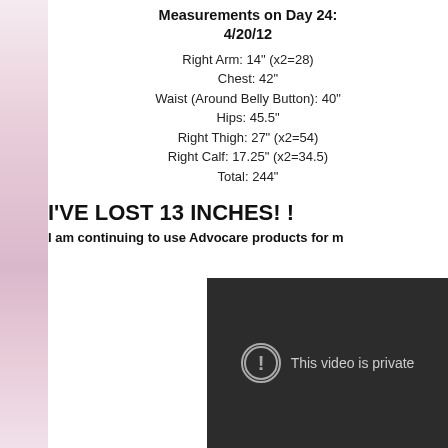Measurements on Day 24:
4/20/12
Right Arm: 14" (x2=28)
Chest: 42"
Waist (Around Belly Button): 40"
Hips: 45.5"
Right Thigh: 27" (x2=54)
Right Calf: 17.25" (x2=34.5)
Total: 244"
I'VE LOST 13 INCHES! !
I am continuing to use Advocare products for m
[Figure (screenshot): Embedded video player showing 'This video is private' message on dark background]